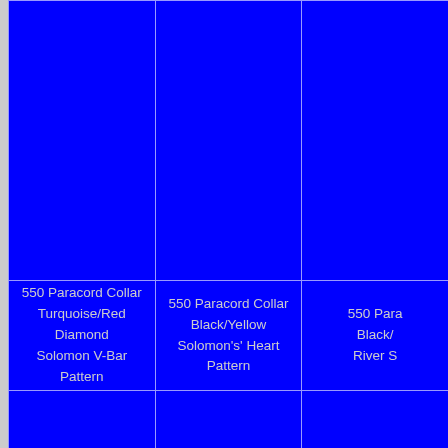[Figure (photo): Blue product image cell - top left]
[Figure (photo): Blue product image cell - top center]
[Figure (photo): Blue product image cell - top right (partial)]
550 Paracord Collar
Turquoise/Red Diamond
Solomon V-Bar Pattern
550 Paracord Collar
Black/Yellow
Solomon's' Heart Pattern
550 Para
Black
River S
[Figure (photo): Blue product image cell - middle left]
[Figure (photo): Blue product image cell - middle center]
[Figure (photo): Blue product image cell - middle right (partial)]
3/16 in. Cotton Collar
Blue
Fishtail Pattern
550 Paracord Collar
Red/White
Solomon's'Daughter Pattern
550 Pa
M
Cob
[Figure (photo): Blue product image cell - bottom left]
[Figure (photo): Blue product image cell - bottom center]
[Figure (photo): Blue product image cell - bottom right (partial)]